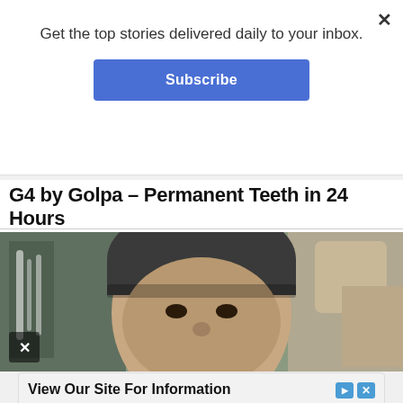Get the top stories delivered daily to your inbox.
Subscribe
G4 by Golpa – Permanent Teeth in 24 Hours
G4 By Golpa | Sponsored
[Figure (photo): Close-up selfie of a person wearing a dark beanie hat, outdoors near a waterfall and rocky terrain]
View Our Site For Information
We Now Offer Lowe Trencher Attachments & Parts. Call Us Today
Replacement Digging Parts
Open